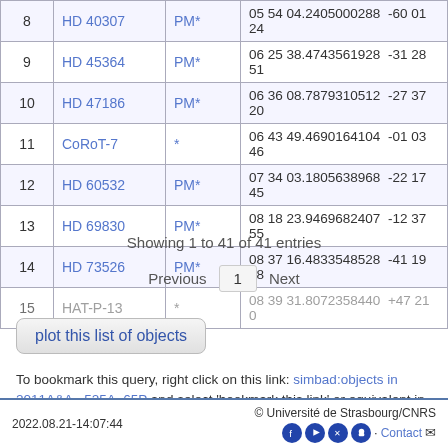| # | Name | Type | Coordinates |
| --- | --- | --- | --- |
| 8 | HD 40307 | PM* | 05 54 04.2405000288  -60 01 24 |
| 9 | HD 45364 | PM* | 06 25 38.4743561928  -31 28 51 |
| 10 | HD 47186 | PM* | 06 36 08.7879310512  -27 37 20 |
| 11 | CoRoT-7 | * | 06 43 49.4690164104  -01 03 46 |
| 12 | HD 60532 | PM* | 07 34 03.1805638968  -22 17 45 |
| 13 | HD 69830 | PM* | 08 18 23.9469682407  -12 37 55 |
| 14 | HD 73526 | PM* | 08 37 16.4833548528  -41 19 08 |
| 15 | HAT-P-13 | * | 08 39 31.8072358440  +47 21 0 |
Showing 1 to 41 of 41 entries
Previous  1  Next
plot this list of objects
To bookmark this query, right click on this link: simbad:objects in 2011A&A...525A..65P and select 'bookmark this link' or equivalent in the popup menu
2022.08.21-14:07:44    © Université de Strasbourg/CNRS